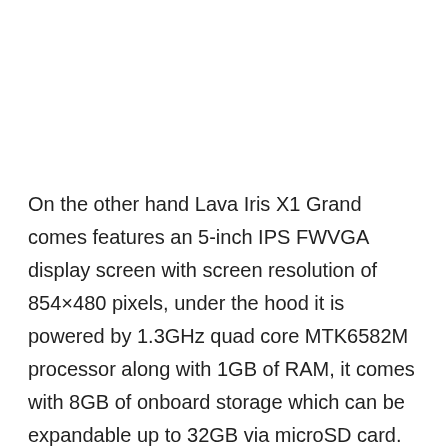On the other hand Lava Iris X1 Grand comes features an 5-inch IPS FWVGA display screen with screen resolution of 854×480 pixels, under the hood it is powered by 1.3GHz quad core MTK6582M processor along with 1GB of RAM, it comes with 8GB of onboard storage which can be expandable up to 32GB via microSD card.